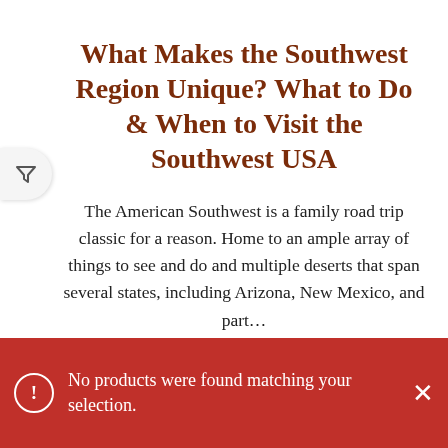What Makes the Southwest Region Unique? What to Do & When to Visit the Southwest USA
The American Southwest is a family road trip classic for a reason. Home to an ample array of things to see and do and multiple deserts that span several states, including Arizona, New Mexico, and part…
CONTINUE READING
No products were found matching your selection.